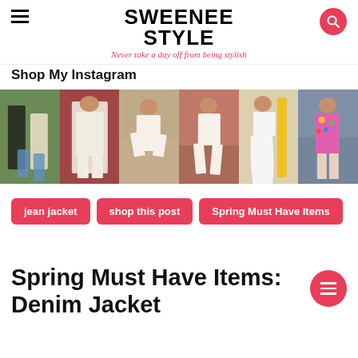SWEENEE STYLE — Never take a day off from being stylish
Shop My Instagram
[Figure (photo): Six Instagram fashion photos in a horizontal strip showing women in various outfits]
jean jacket
shop this post
Spring Must Have Items
Spring Must Have Items: Denim Jacket